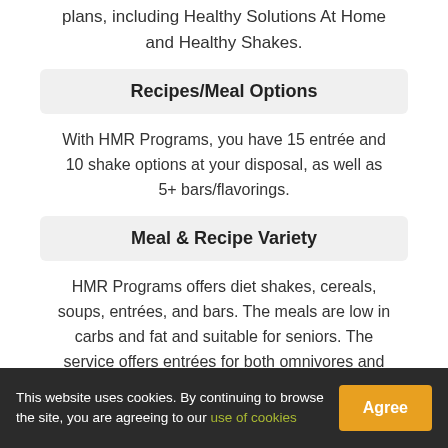plans, including Healthy Solutions At Home and Healthy Shakes.
Recipes/Meal Options
With HMR Programs, you have 15 entrée and 10 shake options at your disposal, as well as 5+ bars/flavorings.
Meal & Recipe Variety
HMR Programs offers diet shakes, cereals, soups, entrées, and bars. The meals are low in carbs and fat and suitable for seniors. The service offers entrées for both omnivores and vegetarians. Allergen-free meals are available and allergen info is provided for all meals.
This website uses cookies. By continuing to browse the site, you are agreeing to our use of cookies  Agree